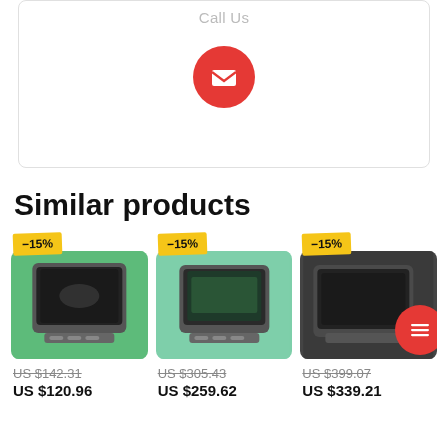Call Us
[Figure (illustration): Red circular email button with white envelope icon]
Similar products
[Figure (photo): Car navigation/infotainment screen unit on green grass background, -15% badge]
US $142.31 (strikethrough)
US $120.96
[Figure (photo): Car navigation/infotainment screen unit on green background, -15% badge]
US $305.43 (strikethrough)
US $259.62
[Figure (photo): Car navigation/infotainment screen unit on dark interior background, -15% badge]
US $399.07 (strikethrough)
US $339.21